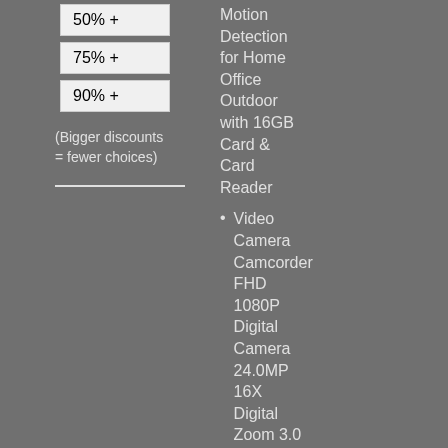50% +
75% +
90% +
(Bigger discounts = fewer choices)
Motion Detection for Home Office Outdoor with 16GB Card & Card Reader
Video Camera Camcorder FHD 1080P Digital Camera 24.0MP 16X Digital Zoom 3.0 Inch LCD 270 Degree...